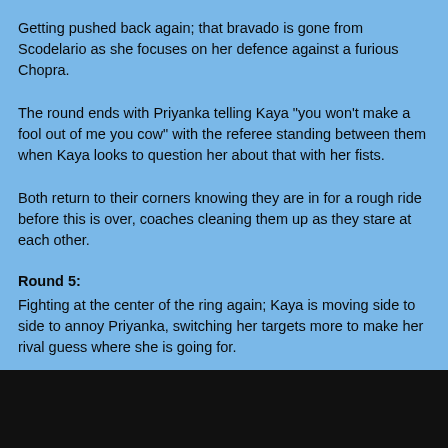Getting pushed back again; that bravado is gone from Scodelario as she focuses on her defence against a furious Chopra.
The round ends with Priyanka telling Kaya "you won't make a fool out of me you cow" with the referee standing between them when Kaya looks to question her about that with her fists.
Both return to their corners knowing they are in for a rough ride before this is over, coaches cleaning them up as they stare at each other.
Round 5:
Fighting at the center of the ring again; Kaya is moving side to side to annoy Priyanka, switching her targets more to make her rival guess where she is going for.